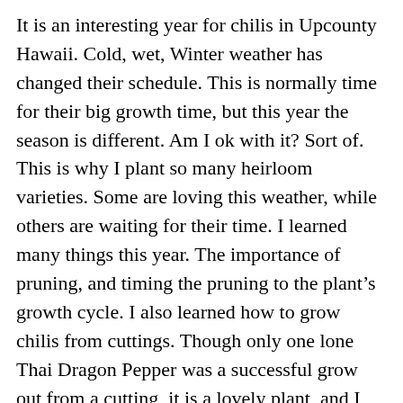It is an interesting year for chilis in Upcounty Hawaii.  Cold, wet, Winter weather has changed their schedule.  This is normally time for their big growth time, but this year the season is different.  Am I ok with it?  Sort of.  This is why I plant so many heirloom varieties.   Some are loving this weather, while others are waiting for their time.  I learned many things this year.  The importance of pruning, and timing the pruning to the plant's growth cycle.  I also learned how to grow chilis from cuttings.  Though only one lone Thai Dragon Pepper was a successful grow out from a cutting, it is a lovely plant, and I learned that the method does work, and that I should try it throughout the year to find ideal times.
I also did two rounds of grow outs from seed despite my Spring travels.  I have two new success with orange Habanero, and Purple Cayenne.  Then